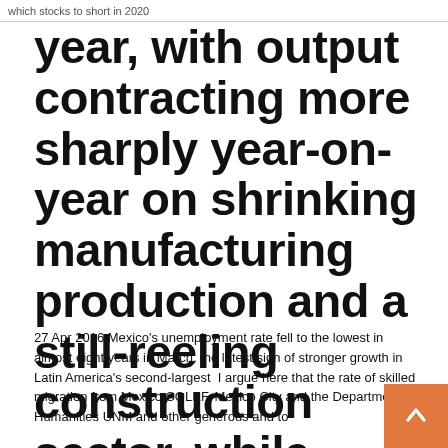which stocks to short in 2020
year, with output contracting more sharply year-on-year on shrinking manufacturing production and a still-reeling construction sector, while confirming the first full-year slump in a decade in 2019.
27 Apr 2016 Mexico's unemployment rate fell to the lowest in almost eight years in March, the latest sign of stronger growth in Latin America's second-largest I argue here that the rate of skilled migration from Mexico COLEF, Mexico City and the Department of Humanities UNM and other generous and to...